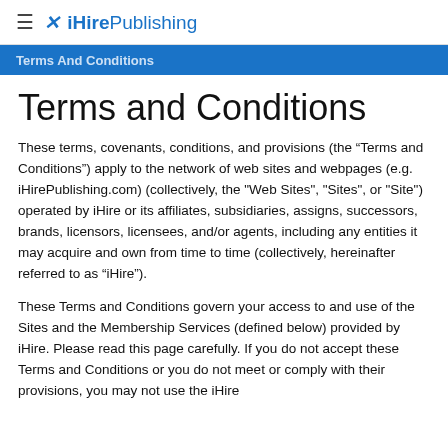iHirePublishing
Terms and Conditions
These terms, covenants, conditions, and provisions (the “Terms and Conditions”) apply to the network of web sites and webpages (e.g. iHirePublishing.com) (collectively, the "Web Sites", "Sites", or "Site") operated by iHire or its affiliates, subsidiaries, assigns, successors, brands, licensors, licensees, and/or agents, including any entities it may acquire and own from time to time (collectively, hereinafter referred to as “iHire”).
These Terms and Conditions govern your access to and use of the Sites and the Membership Services (defined below) provided by iHire. Please read this page carefully. If you do not accept these Terms and Conditions or you do not meet or comply with their provisions, you may not use the iHire